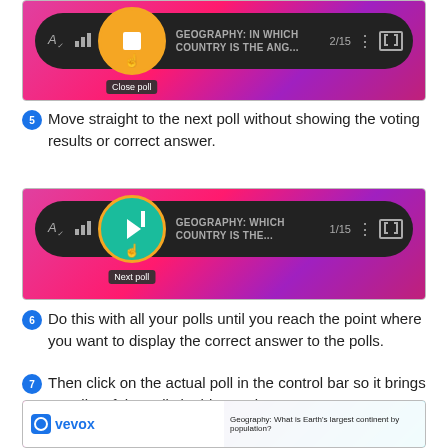[Figure (screenshot): Screenshot of a poll control bar with an orange stop/close poll button highlighted, showing 'GEOGRAPHY: IN WHICH COUNTRY IS THE ANG...' 2/15, with a 'Close poll' tooltip below the button.]
Move straight to the next poll without showing the voting results or correct answer.
[Figure (screenshot): Screenshot of a poll control bar with a teal next poll button highlighted with orange ring, showing 'GEOGRAPHY: WHICH COUNTRY IS THE...' 1/15, with a 'Next poll' tooltip below the button.]
Do this with all your polls until you reach the point where you want to display the correct answer to the polls.
Then click on the actual poll in the control bar so it brings up a list of the polls in this session.
[Figure (screenshot): Screenshot showing the Vevox interface with a geography question 'Geography: What is Earth's largest continent by population?']